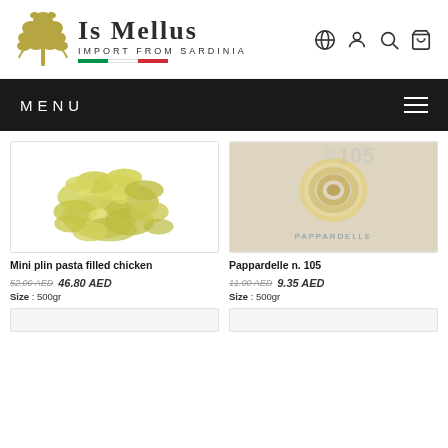[Figure (logo): Is Mellus Import from Sardinia logo with olive tree illustration and Italian flag underline]
MENU
[Figure (photo): Mini plin pasta filled chicken - yellow-green pasta pieces piled together on white background]
[Figure (photo): Pappardelle n. 105 - single pasta nest on beige/cream background with PAPPARDELLE text]
Mini plin pasta filled chicken
52.00 AED  46.80 AED
Size : 500gr
Pappardelle n. 105
11.00 AED  9.35 AED
Size : 500gr